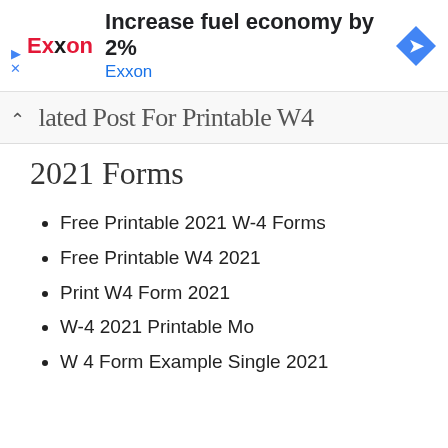[Figure (infographic): Exxon advertisement banner: 'Increase fuel economy by 2%' with Exxon logo in red, subtitle 'Exxon' in blue, and a blue diamond navigation arrow icon on the right. Small play and X icons on the left.]
lated Post For Printable W4 2021 Forms
Free Printable 2021 W-4 Forms
Free Printable W4 2021
Print W4 Form 2021
W-4 2021 Printable Mo
W 4 Form Example Single 2021